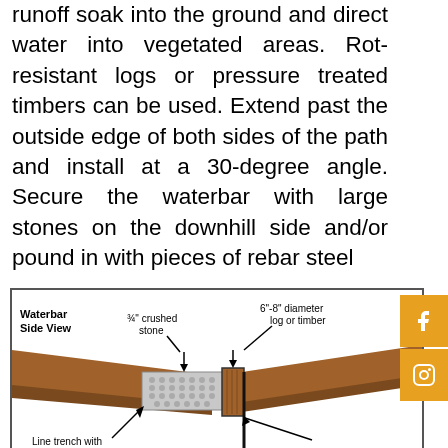runoff soak into the ground and direct water into vegetated areas. Rot-resistant logs or pressure treated timbers can be used. Extend past the outside edge of both sides of the path and install at a 30-degree angle. Secure the waterbar with large stones on the downhill side and/or pound in with pieces of rebar steel
[Figure (engineering-diagram): Waterbar Side View diagram showing a cross-section with a 6"-8" diameter log or timber, 3/4" crushed stone fill in trench, and arrows indicating line trench with components labeled.]